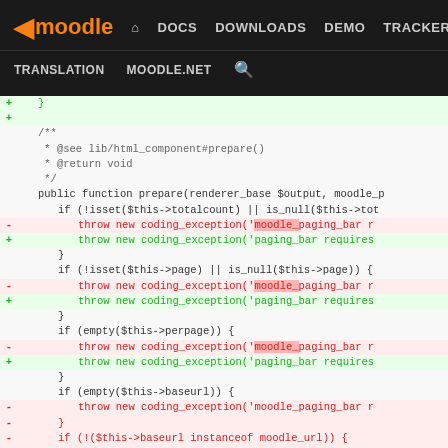moodle DOCS DOWNLOADS DEMO TRACKER DEV | TRANSLATION MOODLE.NET
[Figure (screenshot): Moodle developer site navigation bar with logo, nav links (DOCS, DOWNLOADS, DEMO, TRACKER, DEV highlighted in blue), and secondary links (TRANSLATION, MOODLE.NET, search icon)]
Code diff showing PHP code changes in a moodle paging bar class, with lines removed (red, marked with -) and lines added (green, marked with +). The diff shows changes to coding_exception calls replacing 'moodle_paging_bar r...' with 'paging_bar requires...' in multiple if-statement blocks.